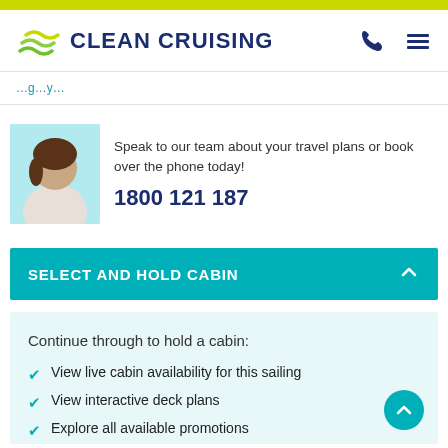CLEAN CRUISING
Speak to our team about your travel plans or book over the phone today!
1800 121 187
SELECT AND HOLD CABIN
Continue through to hold a cabin:
View live cabin availability for this sailing
View interactive deck plans
Explore all available promotions
Hold a cabin for FREE instantly with no obligations